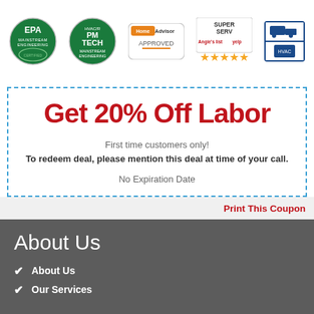[Figure (illustration): Row of certification and review badges: EPA Mainstream Engineering seal, HVAC/R PM Tech Mainstream Engineering seal, HomeAdvisor Approved badge, Super Service Award with Angie's List and Yelp logos and 5 gold stars, and a truck/service logo badge]
Get 20% Off Labor
First time customers only!
To redeem deal, please mention this deal at time of your call.
No Expiration Date
Print This Coupon
About Us
About Us
Our Services